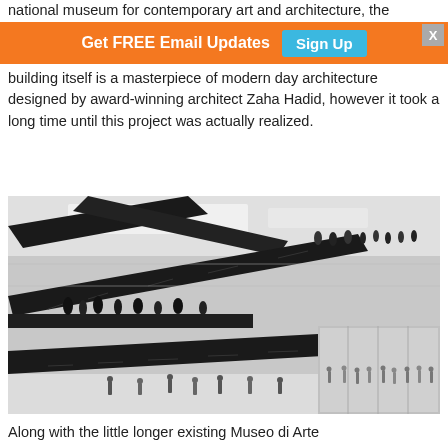national museum for contemporary art and architecture, the
Get FREE Email Updates  Sign Up
building itself is a masterpiece of modern day architecture designed by award-winning architect Zaha Hadid, however it took a long time until this project was actually realized.
[Figure (photo): Interior of a contemporary art museum designed by Zaha Hadid, showing dramatic black angular escalators and staircases set against white walls and ceilings, with visitors visible on multiple levels and on the ground floor.]
Along with the little longer existing Museo di Arte